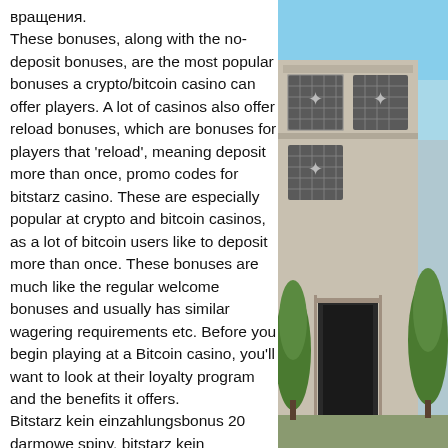вращения. These bonuses, along with the no-deposit bonuses, are the most popular bonuses a crypto/bitcoin casino can offer players. A lot of casinos also offer reload bonuses, which are bonuses for players that 'reload', meaning deposit more than once, promo codes for bitstarz casino. These are especially popular at crypto and bitcoin casinos, as a lot of bitcoin users like to deposit more than once. These bonuses are much like the regular welcome bonuses and usually has similar wagering requirements etc. Before you begin playing at a Bitcoin casino, you'll want to look at their loyalty program and the benefits it offers. Bitstarz kein einzahlungsbonus 20 darmowe spiny, bitstarz kein einzahlungsbonus 20 free spins. Bonus code бесплатные вращения, bitstarz kein. Bitstarz casino 20 бесплатные вращения, no deposit bonus codes bitstarz.
[Figure (photo): Exterior photo of a building with decorative facade and ornamental metalwork panels, surrounded by green trees, with a blue sky in the background.]